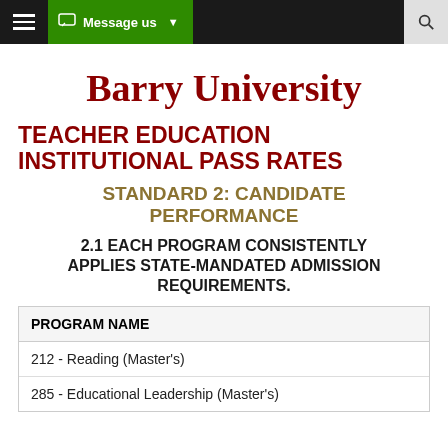Barry University — Message us
Barry University
TEACHER EDUCATION INSTITUTIONAL PASS RATES
STANDARD 2: CANDIDATE PERFORMANCE
2.1 EACH PROGRAM CONSISTENTLY APPLIES STATE-MANDATED ADMISSION REQUIREMENTS.
| PROGRAM NAME |
| --- |
| 212 - Reading (Master's) |
| 285 - Educational Leadership (Master's) |